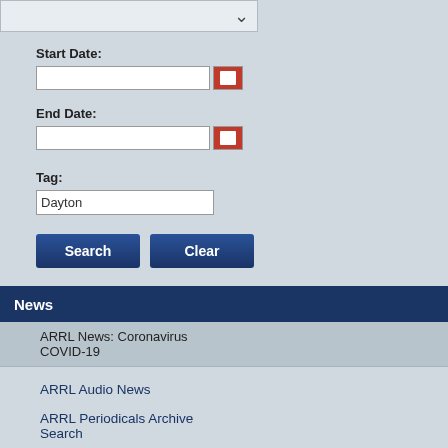Start Date:
End Date:
Tag: Dayton
Search
Clear
News
ARRL News: Coronavirus COVID-19
ARRL Audio News
ARRL Periodicals Archive Search
QST
On the Air Magazine
QEX
NCJ
07/09/2014 | Au... Available
This issue contains t...
Learn More
08/27/2013 | AR... Classroom — a...
A new ARRL teache... data gathering.
Learn More
FEATURE
04/27/2013 | Y... Radar
One of the first thi... large metal objects... electronics will suf... this rule.
Learn More
11/15/2012 | Da... Theme for 201...